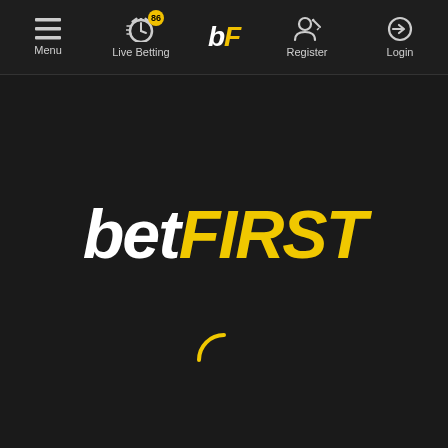Menu | Live Betting 86 | bF | Register | Login
betFIRST
[Figure (other): Loading spinner — a partial yellow circle arc indicating a loading state]